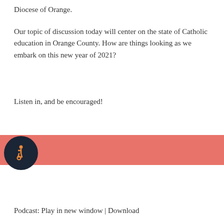Diocese of Orange.
Our topic of discussion today will center on the state of Catholic education in Orange County. How are things looking as we embark on this new year of 2021?
Listen in, and be encouraged!
Originally broadcast on 1/16/21
[Figure (other): Audio player bar with accessibility icon (wheelchair symbol in dark circle), time display showing 00:00 on left and 00:00 on right, with a salmon/coral colored progress bar in between.]
Podcast: Play in new window | Download